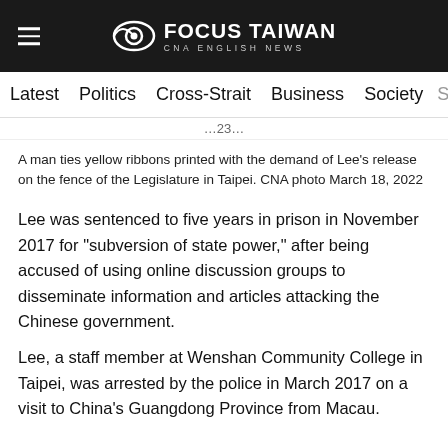Focus Taiwan CNA English News
Latest  Politics  Cross-Strait  Business  Society  Spo>
A man ties yellow ribbons printed with the demand of Lee's release on the fence of the Legislature in Taipei. CNA photo March 18, 2022
Lee was sentenced to five years in prison in November 2017 for "subversion of state power," after being accused of using online discussion groups to disseminate information and articles attacking the Chinese government.
Lee, a staff member at Wenshan Community College in Taipei, was arrested by the police in March 2017 on a visit to China's Guangdong Province from Macau.